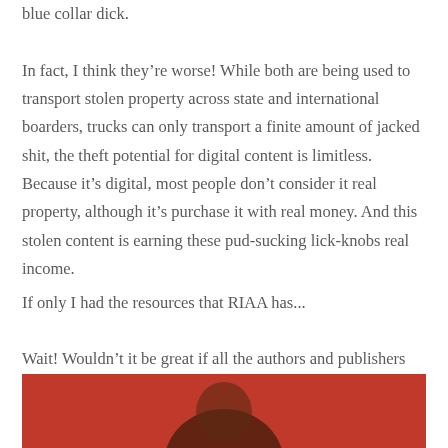blue collar dick.
In fact, I think they're worse! While both are being used to transport stolen property across state and international boarders, trucks can only transport a finite amount of jacked shit, the theft potential for digital content is limitless. Because it's digital, most people don't consider it real property, although it's purchase it with real money. And this stolen content is earning these pud-sucking lick-knobs real income.
If only I had the resources that RIAA has...
Wait! Wouldn't it be great if all the authors and publishers got together and sue the shit out of CloudFlare?
[Figure (photo): A person photographed against a red/orange background, with a 4GIFs.com watermark in the upper left corner. Only the top portion of the image is visible.]